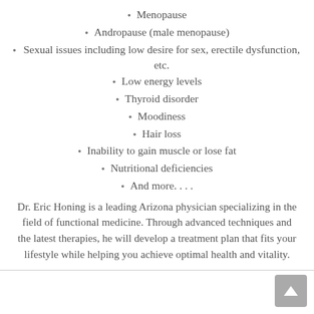Menopause
Andropause (male menopause)
Sexual issues including low desire for sex, erectile dysfunction, etc.
Low energy levels
Thyroid disorder
Moodiness
Hair loss
Inability to gain muscle or lose fat
Nutritional deficiencies
And more. . . .
Dr. Eric Honing is a leading Arizona physician specializing in the field of functional medicine. Through advanced techniques and the latest therapies, he will develop a treatment plan that fits your lifestyle while helping you achieve optimal health and vitality.